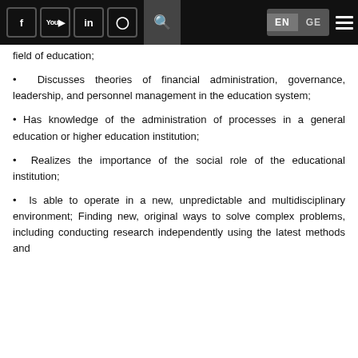Navigation bar with social media icons (Facebook, YouTube, LinkedIn, Instagram), search, language toggle (EN/GE), and menu
field of education;
Discusses theories of financial administration, governance, leadership, and personnel management in the education system;
Has knowledge of the administration of processes in a general education or higher education institution;
Realizes the importance of the social role of the educational institution;
Is able to operate in a new, unpredictable and multidisciplinary environment; Finding new, original ways to solve complex problems, including conducting research independently using the latest methods and